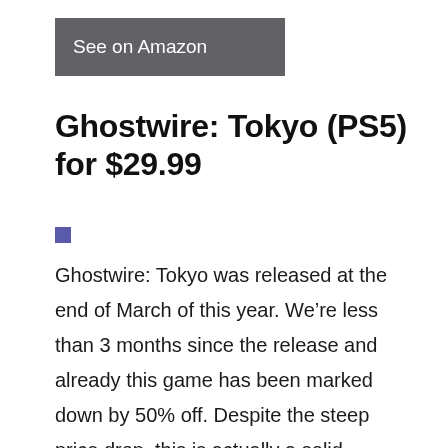[Figure (other): Dark grey button/banner with text 'See on Amazon' in white]
Ghostwire: Tokyo (PS5) for $29.99
[Figure (other): Small blue/purple icon image]
Ghostwire: Tokyo was released at the end of March of this year. We're less than 3 months since the release and already this game has been marked down by 50% off. Despite the steep price drop, this is actually a solid